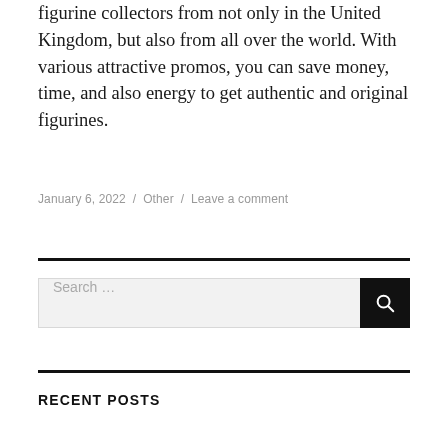figurine collectors from not only in the United Kingdom, but also from all over the world. With various attractive promos, you can save money, time, and also energy to get authentic and original figurines.
January 6, 2022 / Other / Leave a comment
RECENT POSTS